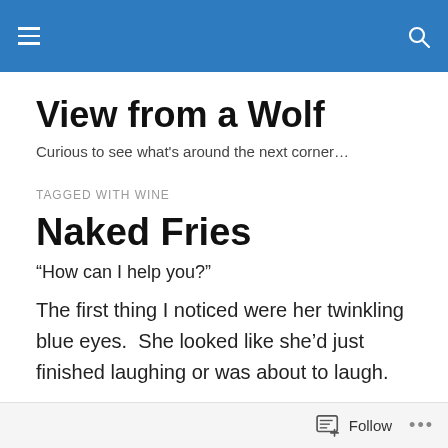View from a Wolf [navigation header with hamburger menu and search icon]
View from a Wolf
Curious to see what's around the next corner…
TAGGED WITH WINE
Naked Fries
“How can I help you?”
The first thing I noticed were her twinkling blue eyes.  She looked like she’d just finished laughing or was about to laugh.
Follow …